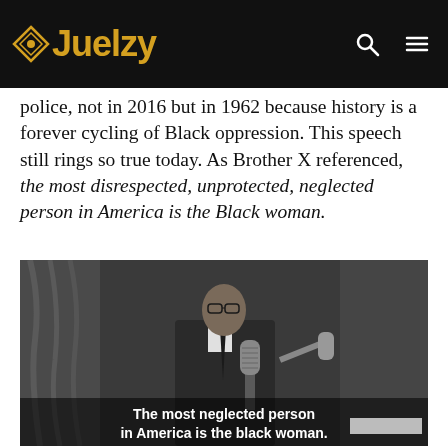Juelzy [logo with navigation search and menu icons]
police, not in 2016 but in 1962 because history is a forever cycling of Black oppression. This speech still rings so true today. As Brother X referenced, the most disrespected, unprotected, neglected person in America is the Black woman.
[Figure (photo): Black and white photograph of Malcolm X speaking at a podium with a vintage microphone, wearing a suit and glasses, with curtains in the background. Subtitle text reads: 'The most neglected person in America is the black woman.']